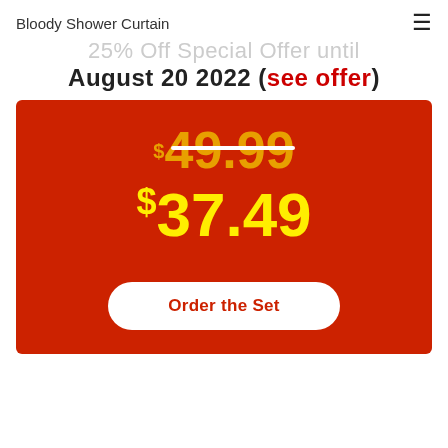Bloody Shower Curtain
25% Off Special Offer until August 20 2022 (see offer)
$49.99 (strikethrough original price) $37.49 (sale price) Order the Set